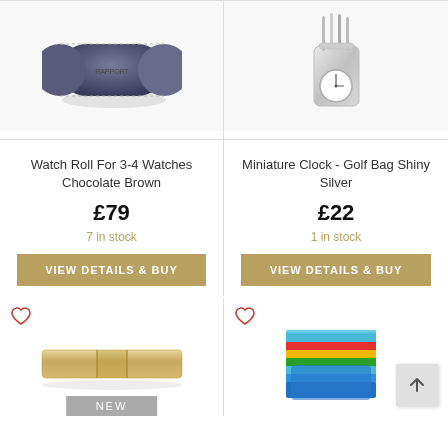[Figure (photo): Dark chocolate brown leather watch roll for 3-4 watches, cylindrical shape]
Watch Roll For 3-4 Watches Chocolate Brown
£79
7 in stock
VIEW DETAILS & BUY
[Figure (photo): Miniature clock shaped like a shiny silver golf bag with clubs]
Miniature Clock - Golf Bag Shiny Silver
£22
1 in stock
VIEW DETAILS & BUY
[Figure (photo): Gold/cream colored leather money clip, flat rectangular shape]
NEW
[Figure (photo): Colorful striped card wallet in blue, red, yellow, green rainbow stripes]